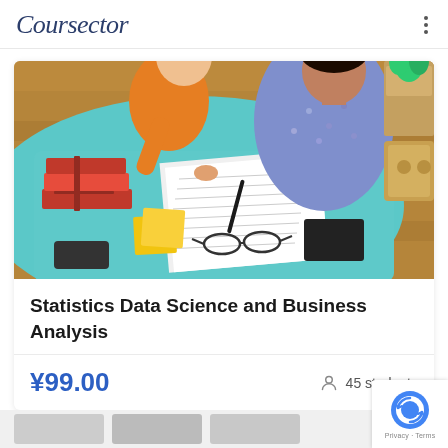Coursector
[Figure (photo): Overhead view of two people studying at a teal table with books, papers, glasses, sticky notes, and a phone]
Statistics Data Science and Business Analysis
¥99.00   45 students